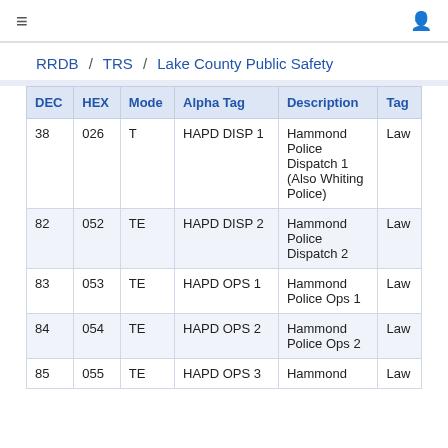≡  (user icon)
RRDB / TRS / Lake County Public Safety
| DEC | HEX | Mode | Alpha Tag | Description | Tag |
| --- | --- | --- | --- | --- | --- |
| 38 | 026 | T | HAPD DISP 1 | Hammond Police Dispatch 1 (Also Whiting Police) | Law |
| 82 | 052 | TE | HAPD DISP 2 | Hammond Police Dispatch 2 | Law |
| 83 | 053 | TE | HAPD OPS 1 | Hammond Police Ops 1 | Law |
| 84 | 054 | TE | HAPD OPS 2 | Hammond Police Ops 2 | Law |
| 85 | 055 | TE | HAPD OPS 3 | Hammond | Law |